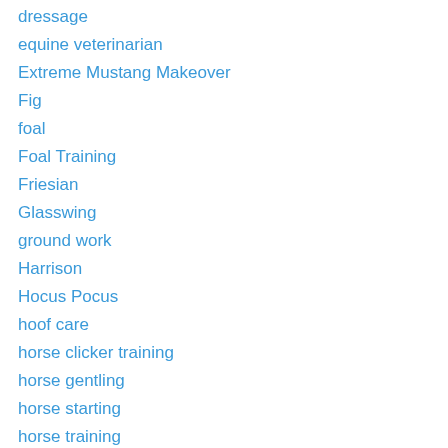dressage
equine veterinarian
Extreme Mustang Makeover
Fig
foal
Foal Training
Friesian
Glasswing
ground work
Harrison
Hocus Pocus
hoof care
horse clicker training
horse gentling
horse starting
horse training
horse training blog
Imprinting
in-hand work
Isolde